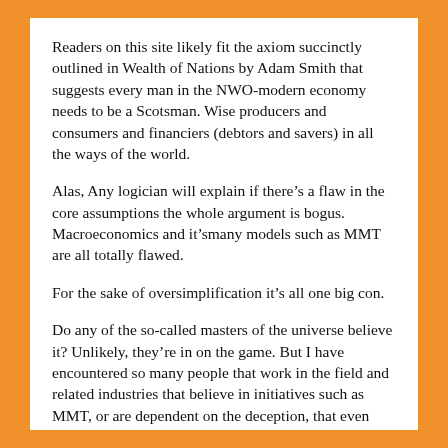Readers on this site likely fit the axiom succinctly outlined in Wealth of Nations by Adam Smith that suggests every man in the NWO-modern economy needs to be a Scotsman. Wise producers and consumers and financiers (debtors and savers) in all the ways of the world.
Alas, Any logician will explain if there’s a flaw in the core assumptions the whole argument is bogus. Macroeconomics and it’smany models such as MMT are all totally flawed.
For the sake of oversimplification it’s all one big con.
Do any of the so-called masters of the universe believe it? Unlikely, they’re in on the game. But I have encountered so many people that work in the field and related industries that believe in initiatives such as MMT, or are dependent on the deception, that even when provided solid and irrefutable data they go blank. It’s also called denial.